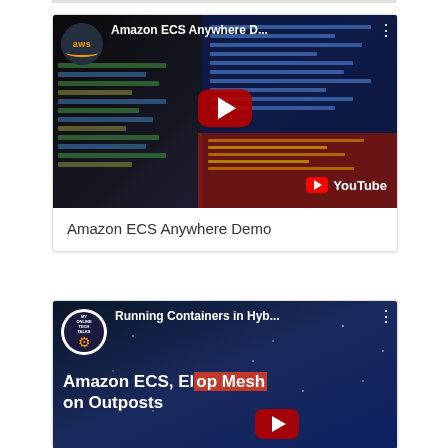[Figure (screenshot): YouTube video thumbnail for 'Amazon ECS Anywhere Demo' showing AWS logo, dark terminal/code editor background with blue and red panels, a YouTube play button in the center, and YouTube watermark in bottom right]
Amazon ECS Anywhere Demo
[Figure (screenshot): YouTube video thumbnail for 'Running Containers in Hyb...' from Online Tech Talks channel, showing dark blue space-like background with text 'Amazon ECS, El... op Mesh on Outposts' and a play button]